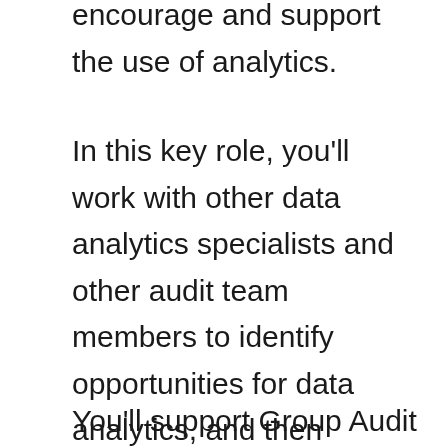encourage and support the use of analytics.
In this key role, you'll work with other data analytics specialists and other audit team members to identify opportunities for data analytics, and then support the development and delivery of those analytics.
You'll support Group Audit